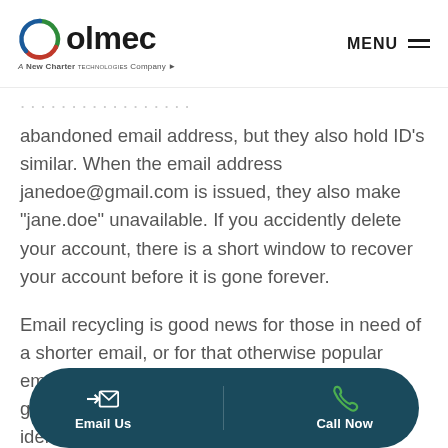olmec — A New Charter Technologies Company | MENU
abandoned email address, but they also hold ID's similar. When the email address janedoe@gmail.com is issued, they also make "jane.doe" unavailable. If you accidently delete your account, there is a short window to recover your account before it is gone forever.
Email recycling is good news for those in need of a shorter email, or for that otherwise popular email address. But an em… mes… login ID for other websites. The email is the login identification and the security
[Figure (infographic): Dark teal rounded pill-shaped CTA bar with Email Us button (envelope icon) and Call Now button (phone icon)]